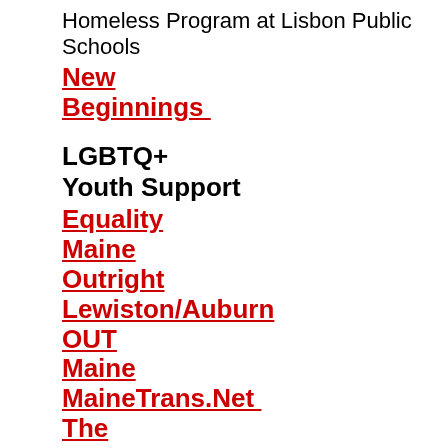Homeless Program at Lisbon Public Schools
New Beginnings
LGBTQ+ Youth Support
Equality Maine
Outright Lewiston/Auburn
OUT Maine
MaineTrans.Net
The Trevor Project
PLAG
Medical Needs (Low Cost/No Cost)